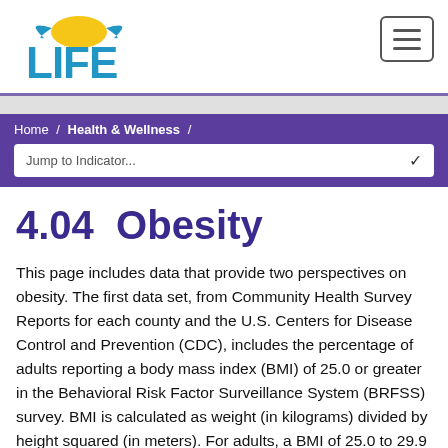LIFE logo and navigation hamburger menu
Home / Health & Wellness /
Jump to Indicator...
4.04  Obesity
This page includes data that provide two perspectives on obesity. The first data set, from Community Health Survey Reports for each county and the U.S. Centers for Disease Control and Prevention (CDC), includes the percentage of adults reporting a body mass index (BMI) of 25.0 or greater in the Behavioral Risk Factor Surveillance System (BRFSS) survey. BMI is calculated as weight (in kilograms) divided by height squared (in meters). For adults, a BMI of 25.0 to 29.9 indicates the individual is overweight, whereas a BMI of 30.0 or greater indicates obesity. The BRFSS is administered by the Wisconsin Department of Health Services in conjunction with the CDC